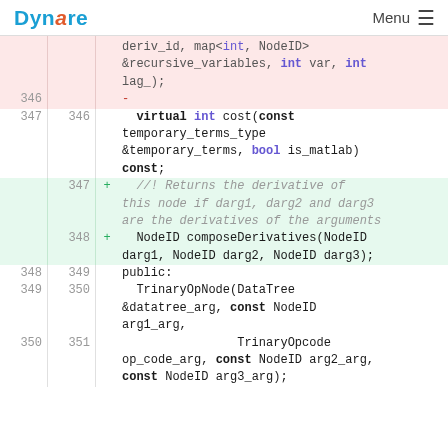Dynare | Menu
Code diff showing lines 346-351 with additions and deletions in C++ source code for Dynare